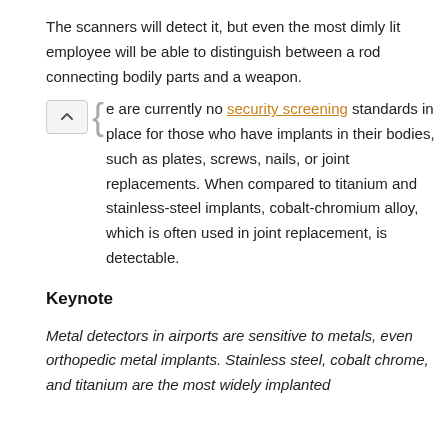The scanners will detect it, but even the most dimly lit employee will be able to distinguish between a rod connecting bodily parts and a weapon.
There are currently no security screening standards in place for those who have implants in their bodies, such as plates, screws, nails, or joint replacements. When compared to titanium and stainless-steel implants, cobalt-chromium alloy, which is often used in joint replacement, is detectable.
Keynote
Metal detectors in airports are sensitive to metals, even orthopedic metal implants. Stainless steel, cobalt chrome, and titanium are the most widely implanted